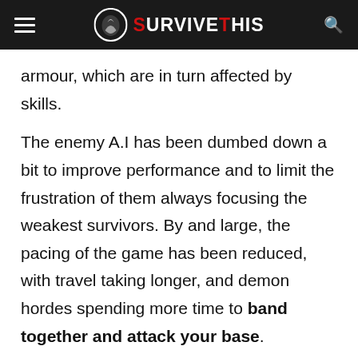SURVIVE THIS
armour, which are in turn affected by skills.
The enemy A.I has been dumbed down a bit to improve performance and to limit the frustration of them always focusing the weakest survivors. By and large, the pacing of the game has been reduced, with travel taking longer, and demon hordes spending more time to band together and attack your base.